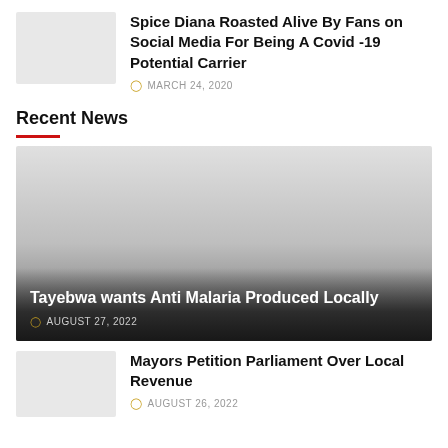[Figure (photo): Thumbnail image placeholder for article about Spice Diana]
Spice Diana Roasted Alive By Fans on Social Media For Being A Covid -19 Potential Carrier
MARCH 24, 2020
Recent News
[Figure (photo): Large featured image for article about Tayebwa wants Anti Malaria Produced Locally]
Tayebwa wants Anti Malaria Produced Locally
AUGUST 27, 2022
[Figure (photo): Thumbnail image placeholder for article about Mayors Petition Parliament Over Local Revenue]
Mayors Petition Parliament Over Local Revenue
AUGUST 26, 2022